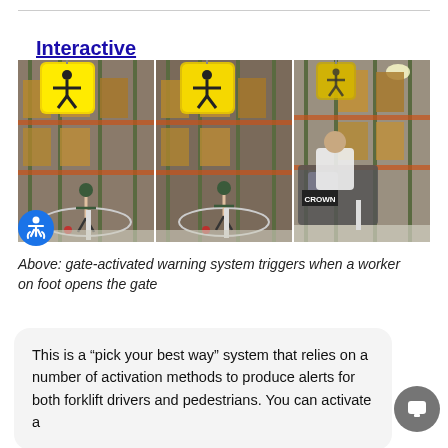Interactive LED sign systems
[Figure (photo): Three warehouse photos showing a gate-activated LED pedestrian warning sign system: first photo shows a worker on foot near the gate with bright yellow LED sign illuminated, second shows the worker opening the gate with sign still lit, third shows a forklift driver approaching the zone with the sign now dimmed.]
Above: gate-activated warning system triggers when a worker on foot opens the gate
This is a “pick your best way” system that relies on a number of activation methods to produce alerts for both forklift drivers and pedestrians. You can activate a